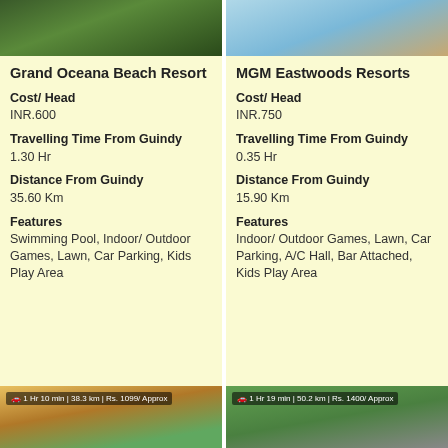[Figure (photo): Photo of people on grass at Grand Oceana Beach Resort]
Grand Oceana Beach Resort
Cost/ Head
INR.600
Travelling Time From Guindy
1.30 Hr
Distance From Guindy
35.60 Km
Features
Swimming Pool, Indoor/ Outdoor Games, Lawn, Car Parking, Kids Play Area
[Figure (photo): Photo of pool/resort at MGM Eastwoods Resorts]
MGM Eastwoods Resorts
Cost/ Head
INR.750
Travelling Time From Guindy
0.35 Hr
Distance From Guindy
15.90 Km
Features
Indoor/ Outdoor Games, Lawn, Car Parking, A/C Hall, Bar Attached, Kids Play Area
[Figure (photo): Thumbnail of resort with label: 1 Hr 10 min | 38.3 km | Rs. 1099/ Approx]
[Figure (photo): Thumbnail of resort with label: 1 Hr 19 min | 50.2 km | Rs. 1400/ Approx]